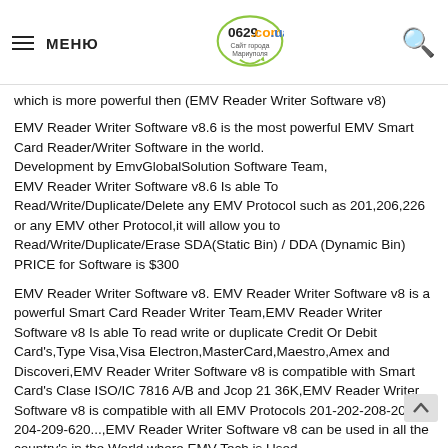МЕНЮ | 0629.com.ua Сайт города Мариуполя
which is more powerful then (EMV Reader Writer Software v8)
EMV Reader Writer Software v8.6 is the most powerful EMV Smart Card Reader/Writer Software in the world.
Development by EmvGlobalSolution Software Team,
EMV Reader Writer Software v8.6 Is able To Read/Write/Duplicate/Delete any EMV Protocol such as 201,206,226 or any EMV other Protocol,it will allow you to Read/Write/Duplicate/Erase SDA(Static Bin) / DDA (Dynamic Bin)
PRICE for Software is $300
EMV Reader Writer Software v8. EMV Reader Writer Software v8 is a powerful Smart Card Reader Writer Team,EMV Reader Writer Software v8 Is able To read write or duplicate Credit Or Debit Card's,Type Visa,Visa Electron,MasterCard,Maestro,Amex and Discoveri,EMV Reader Writer Software v8 is compatible with Smart Card's Clase ISO/IC 7816 A/B and Jcop 21 36K,EMV Reader Writer Software v8 is compatible with all EMV Protocols 201-202-208-203-204-209-620...,EMV Reader Writer Software v8 can be used in all the country's in the World where EMV Tech is Used.
dumps shop, buy dumps online, buy dumps with pin, buy cvv dumps, buy dumps cvv, cvv dumps shop, dumps cc shop, dumps track 1 and 2 with pin,cvv shop, cvv2 shop, valid cc shop, valid shop cc, carding forum cvv, sell cvv good, fresh cvv shop, cvv shop high balance, buy cvv dumps, selling cvv, buy credit card dumps online, buy cvv dumps verified seller, cvv dumps, cvv dumps, sell cvv,
dumps pin 101, dumps pin 201, buy dumps cc, cc dumps, cvv dumps, good